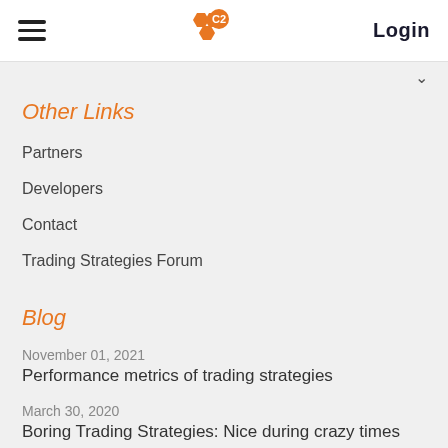Login
Other Links
Partners
Developers
Contact
Trading Strategies Forum
Blog
November 01, 2021
Performance metrics of trading strategies
March 30, 2020
Boring Trading Strategies: Nice during crazy times
Collective2 LLC is a member of the National Futures